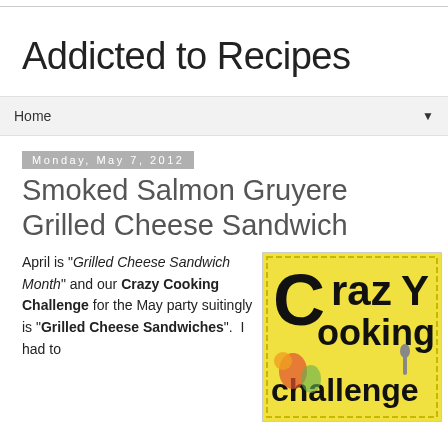Addicted to Recipes
Home
Monday, May 7, 2012
Smoked Salmon Gruyere Grilled Cheese Sandwich
April is "Grilled Cheese Sandwich Month" and our Crazy Cooking Challenge for the May party suitingly is "Grilled Cheese Sandwiches".  I had to
[Figure (illustration): Crazy Cooking Challenge logo with colorful illustrated characters and text reading 'Crazy Cooking Challenge' in bold black letters on a yellow background]